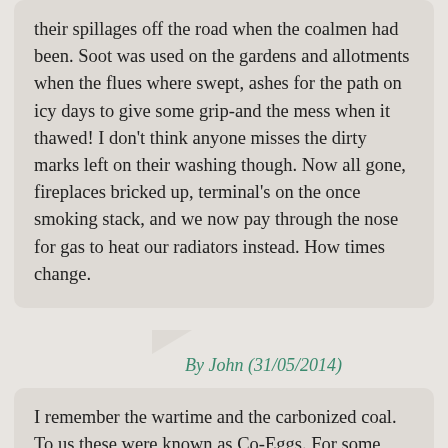their spillages off the road when the coalmen had been. Soot was used on the gardens and allotments when the flues where swept, ashes for the path on icy days to give some grip-and the mess when it thawed! I don't think anyone misses the dirty marks left on their washing though. Now all gone, fireplaces bricked up, terminal's on the once smoking stack, and we now pay through the nose for gas to heat our radiators instead. How times change.
By John (31/05/2014)
I remember the wartime and the carbonized coal. To us these were known as Co-Eggs. For some reason I always believed the egg shaped